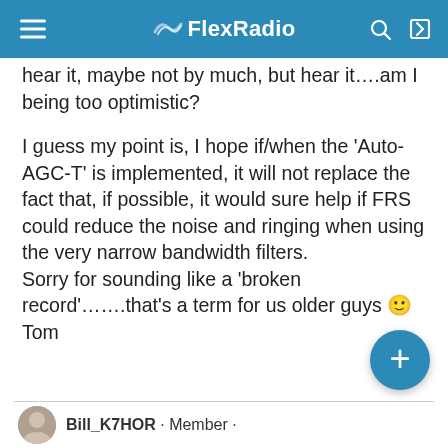FlexRadio
hear it, maybe not by much, but hear it....am I being too optimistic?

I guess my point is, I hope if/when the 'Auto-AGC-T' is implemented, it will not replace the fact that, if possible, it would sure help if FRS could reduce the noise and ringing when using the very narrow bandwidth filters.
Sorry for sounding like a 'broken record'.......that's a term for us older guys 🙂
Tom
Bill_K7HOR · Member ·